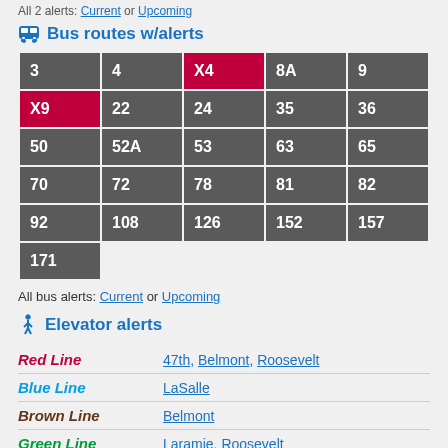All 2 alerts: Current or Upcoming
Bus routes w/alerts
| 3 | 4 | X4 | 8A | 9 |
| X9 | 22 | 24 | 35 | 36 |
| 50 | 52A | 53 | 63 | 65 |
| 70 | 72 | 78 | 81 | 82 |
| 92 | 108 | 126 | 152 | 157 |
| 171 |  |  |  |  |
All bus alerts: Current or Upcoming
Elevator alerts
Red Line — 47th, Belmont, Roosevelt
Blue Line — LaSalle
Brown Line — Belmont
Green Line — Laramie, Roosevelt